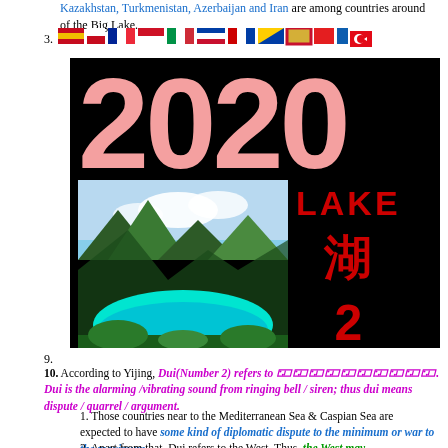Kazakhstan, Turkmenistan, Azerbaijan and Iran are among countries around of the Big Lake.
3. [flags: Spain, Gibraltar, France, Indonesia, Italy, Slovenia, Croatia, Bosnia, Montenegro, Albania, Greece, Turkey]
[Figure (photo): Black background graphic with large pink '2020' text, a photo of a turquoise mountain lake (Pinatubo crater lake style), and red text 'LAKE', Chinese character '湖', and '2' on the right side]
9.
10. According to Yijing, Dui(Number 2) refers to [Chinese characters]. Dui is the alarming/vibrating sound from ringing bell / siren; thus dui means dispute / quarrel / argument.
1. Those countries near to the Mediterranean Sea & Caspian Sea are expected to have some kind of diplomatic dispute to the minimum or war to the maximum.
2. Apart from that, Dui refers to the West. Thus, the West may